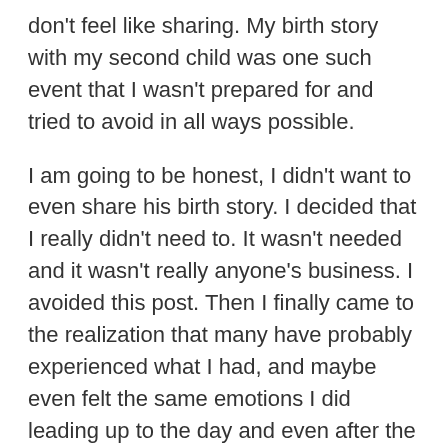don't feel like sharing. My birth story with my second child was one such event that I wasn't prepared for and tried to avoid in all ways possible.
I am going to be honest, I didn't want to even share his birth story. I decided that I really didn't need to. It wasn't needed and it wasn't really anyone's business. I avoided this post. Then I finally came to the realization that many have probably experienced what I had, and maybe even felt the same emotions I did leading up to the day and even after the day.
LJ's birth wasn't any less significant, because of how it happened, and wasn't any less of a miracle. You may be wondering, what I am even talking about, let me explain.